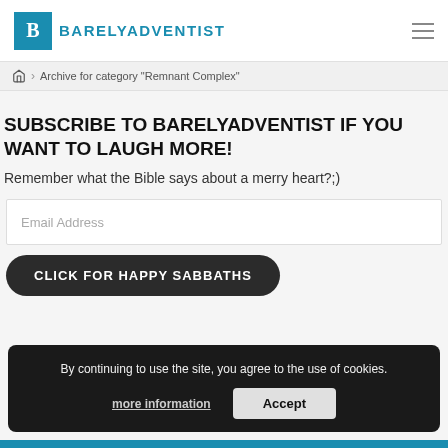BARELYADVENTIST
Archive for category "Remnant Complex"
SUBSCRIBE TO BARELYADVENTIST IF YOU WANT TO LAUGH MORE!
Remember what the Bible says about a merry heart?;)
Email Address
CLICK FOR HAPPY SABBATHS
By continuing to use the site, you agree to the use of cookies.
more information
Accept